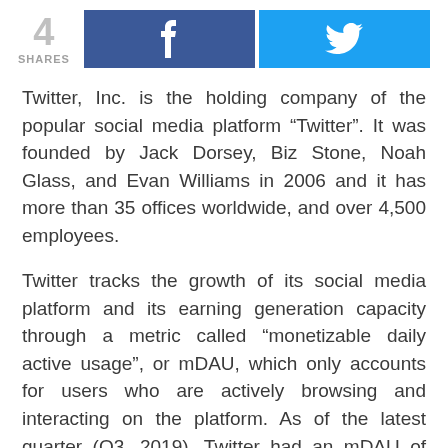[Figure (infographic): Share count display showing '4 SHARES' with Facebook (blue) and Twitter (cyan) share buttons]
Twitter, Inc. is the holding company of the popular social media platform “Twitter”. It was founded by Jack Dorsey, Biz Stone, Noah Glass, and Evan Williams in 2006 and it has more than 35 offices worldwide, and over 4,500 employees.
Twitter tracks the growth of its social media platform and its earning generation capacity through a metric called “monetizable daily active usage”, or mDAU, which only accounts for users who are actively browsing and interacting on the platform. As of the latest quarter (Q3, 2019), Twitter had an mDAU of 145 million users, which represents a quarter-to-quarter growth of 4.3% and a year-on-year growth of 17%. The mDAU figure for